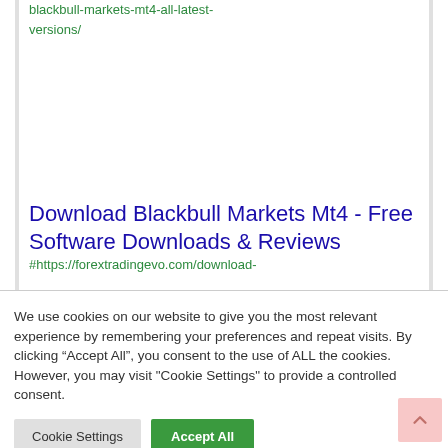blackbull-markets-mt4-all-latest-versions/
Download Blackbull Markets Mt4 - Free Software Downloads & Reviews
#https://forextradingevo.com/download-
We use cookies on our website to give you the most relevant experience by remembering your preferences and repeat visits. By clicking “Accept All”, you consent to the use of ALL the cookies. However, you may visit "Cookie Settings" to provide a controlled consent.